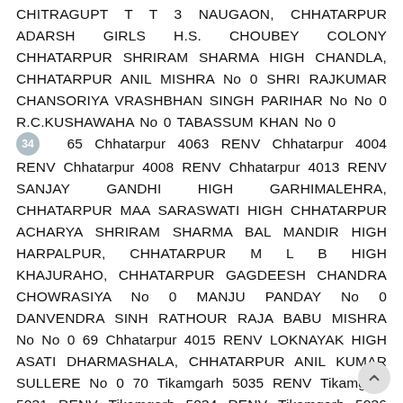CHITRAGUPT T T 3 NAUGAON, CHHATARPUR ADARSH GIRLS H.S. CHOUBEY COLONY CHHATARPUR SHRIRAM SHARMA HIGH CHANDLA, CHHATARPUR ANIL MISHRA No 0 SHRI RAJKUMAR CHANSORIYA VRASHBHAN SINGH PARIHAR No No 0 R.C.KUSHAWAHA No 0 TABASSUM KHAN No 0
34  65 Chhatarpur 4063 RENV Chhatarpur 4004 RENV Chhatarpur 4008 RENV Chhatarpur 4013 RENV SANJAY GANDHI HIGH GARHIMALEHRA, CHHATARPUR MAA SARASWATI HIGH CHHATARPUR ACHARYA SHRIRAM SHARMA BAL MANDIR HIGH HARPALPUR, CHHATARPUR M L B HIGH KHAJURAHO, CHHATARPUR GAGDEESH CHANDRA CHOWRASIYA No 0 MANJU PANDAY No 0 DANVENDRA SINH RATHOUR RAJA BABU MISHRA No No 0 69 Chhatarpur 4015 RENV LOKNAYAK HIGH ASATI DHARMASHALA, CHHATARPUR ANIL KUMAR SULLERE No 0 70 Tikamgarh 5035 RENV Tikamgarh 5031 RENV Tikamgarh 5034 RENV Tikamgarh 5036 RENV Tikamgarh 5022 RENV Tikamgarh 5028 RENV Tikamgarh 5025 RENV GURUKUL CONVENT H.S. PRITHVIPUR, TIKAMGARH MATA BETI BAI PUBLIC H.S. KHARGAPUR TIKAMGARH ACHARYA SHRI 108 VIDHYASAGAR BAL SANSKAR H.S.